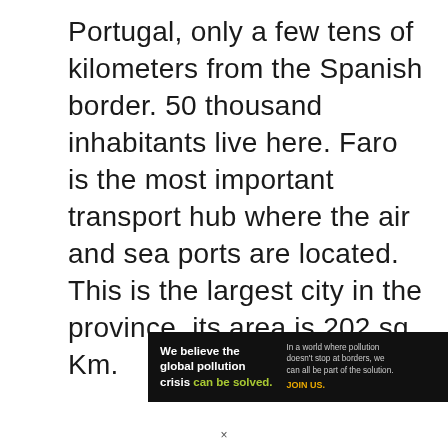Portugal, only a few tens of kilometers from the Spanish border. 50 thousand inhabitants live here. Faro is the most important transport hub where the air and sea ports are located. This is the largest city in the province, its area is 202 sq. Km.
[Figure (infographic): Pure Earth advertisement banner. Black background on left side with white bold text 'We believe the global pollution crisis can be solved.' where 'can be solved.' is in yellow-green color. Right of that, small white text reads 'In a world where pollution doesn't stop at borders, we can all be part of the solution.' with orange bold text 'JOIN US.' below. On the far right, white background with orange/yellow diamond logo and bold black text 'PURE EARTH'.]
×